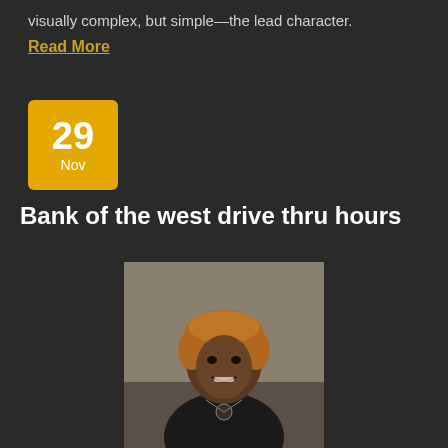visually complex, but simple—the lead character.
Read More
29 Nov
Bank of the west drive thru hours
[Figure (photo): Professional headshot of a woman with short auburn/golden hair wearing a black blazer over a black top with a necklace, smiling at the camera against a neutral background.]